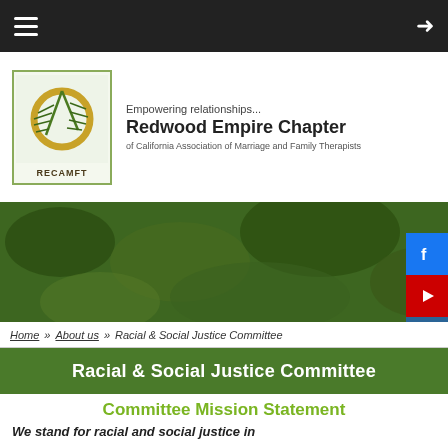Navigation bar with hamburger menu and login icon
[Figure (logo): REcamft logo — circular gold ring with pine branch, inside a green-bordered box, with text REcamft below]
Empowering relationships... Redwood Empire Chapter of California Association of Marriage and Family Therapists
[Figure (photo): Background photo of green foliage/trees]
[Figure (other): Social media icons: Facebook (blue), YouTube (red), Instagram (blue)]
Home » About us » Racial & Social Justice Committee
Racial & Social Justice Committee
Committee Mission Statement
We stand for racial and social justice in